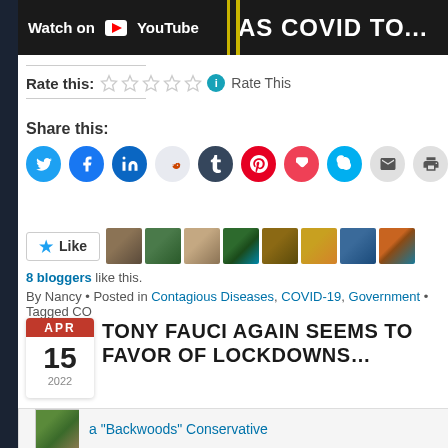[Figure (screenshot): YouTube video thumbnail strip showing 'Watch on YouTube' text and partial COVID title]
Rate this: ☆☆☆☆☆ ℹ Rate This
Share this:
[Figure (infographic): Social share buttons: Twitter, Facebook, LinkedIn, Reddit, Tumblr, Pinterest, Pocket, Skype, Email, Print]
[Figure (infographic): Like button and 8 blogger avatars]
8 bloggers like this.
By Nancy • Posted in Contagious Diseases, COVID-19, Government • Tagged CO
TONY FAUCI AGAIN SEEMS TO FAVOR OF LOCKDOWNS...
[Figure (photo): Author avatar - backwoods cabin photo]
a "Backwoods" Conservative